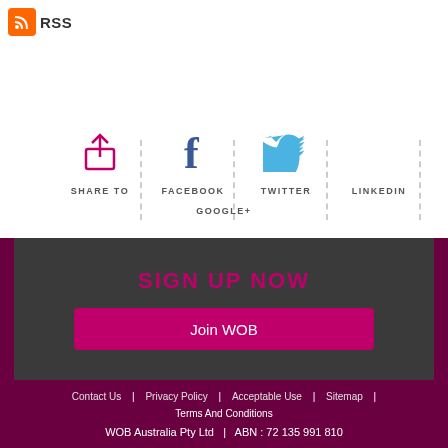[Figure (logo): RSS feed icon with orange background and white wifi/rss symbol, followed by the text RSS]
[Figure (infographic): Social sharing buttons row: Share To (upload icon, magenta), Facebook (blue f icon), Twitter (blue bird icon), LinkedIn (no icon shown, text only), with dashed vertical dividers between each item]
GOOGLE+
SIGN UP NOW
Join WOB
Contact Us | Privacy Policy | Acceptable Use | Sitemap | Terms And Conditions
WOB Australia Pty Ltd | ABN : 72 135 991 810